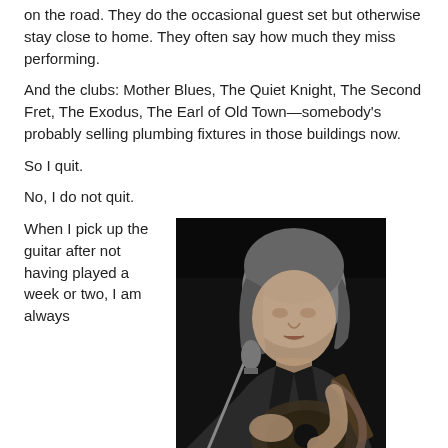on the road. They do the occasional guest set but otherwise stay close to home. They often say how much they miss performing.
And the clubs: Mother Blues, The Quiet Knight, The Second Fret, The Exodus, The Earl of Old Town—somebody's probably selling plumbing fixtures in those buildings now.
So I quit.
No, I do not quit.
When I pick up the guitar after not having played a week or two, I am always
[Figure (photo): Black and white photo of a middle-aged man with reddish-brown hair playing acoustic guitar and singing into a microphone on stage.]